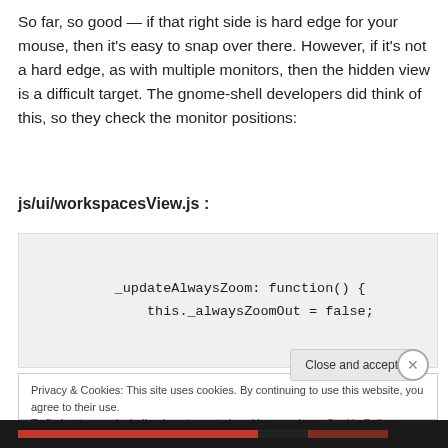So far, so good — if that right side is hard edge for your mouse, then it's easy to snap over there.  However, if it's not a hard edge, as with multiple monitors, then the hidden view is a difficult target.  The gnome-shell developers did think of this, so they check the monitor positions:
js/ui/workspacesView.js :
[Figure (screenshot): Code block showing JavaScript code: _updateAlwaysZoom: function() { this._alwaysZoomOut = false;]
Privacy & Cookies: This site uses cookies. By continuing to use this website, you agree to their use.
To find out more, including how to control cookies, see here: Cookie Policy